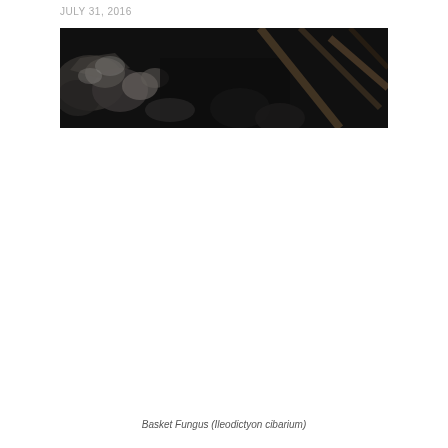JULY 31, 2016
[Figure (photo): A dark, close-up photograph of rocks, debris, and wooden sticks or branches on a forest floor or rocky surface. The image is a wide horizontal strip with dark tones throughout.]
Basket Fungus (Ileodictyon cibarium)